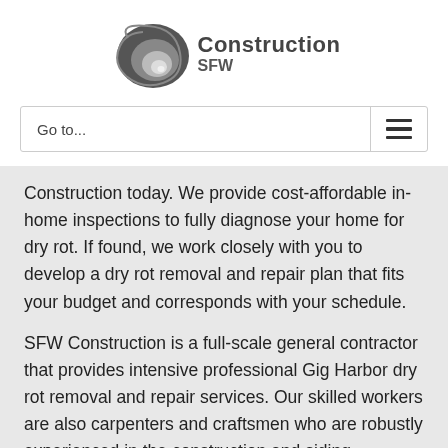[Figure (logo): SFW Construction logo with spiral nautilus shell graphic in dark gray and light gray, with 'Construction' text in bold dark gray and 'SFW' below it]
Go to...
Construction today. We provide cost-affordable in-home inspections to fully diagnose your home for dry rot. If found, we work closely with you to develop a dry rot removal and repair plan that fits your budget and corresponds with your schedule.
SFW Construction is a full-scale general contractor that provides intensive professional Gig Harbor dry rot removal and repair services. Our skilled workers are also carpenters and craftsmen who are robustly experienced in the construction and siding services, among for...